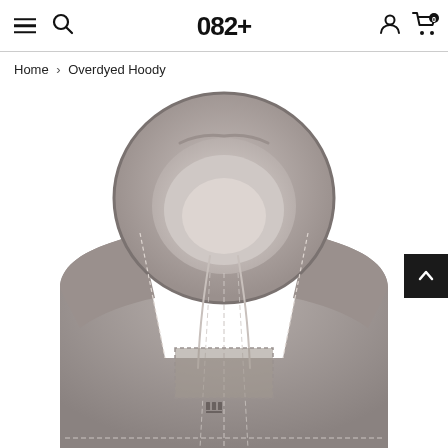082+ navigation bar with menu, search, account, cart icons
Home > Overdyed Hoody
[Figure (photo): Product photo of an overdyed grey hoodie with visible contrast stitching, large hood shown face-on, drawstring visible, small logo on chest area, on white background]
Back to top arrow button